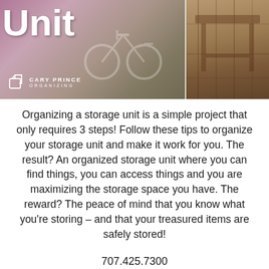[Figure (photo): Banner image showing storage unit interior with bicycle on left panel (pink/mauve toned) and wooden furniture on right panel, with CARY PRINCE ORGANIZING logo overlay on left side]
Organizing a storage unit is a simple project that only requires 3 steps! Follow these tips to organize your storage unit and make it work for you. The result? An organized storage unit where you can find things, you can access things and you are maximizing the storage space you have. The reward? The peace of mind that you know what you're storing – and that your treasured items are safely stored!
707.425.7300
Railroad Avenue Self Storage
515 Railroad Avenue
Suisun City, CA 94585
Office Hours
Monday thru Saturday
9:00am – 5:30pm